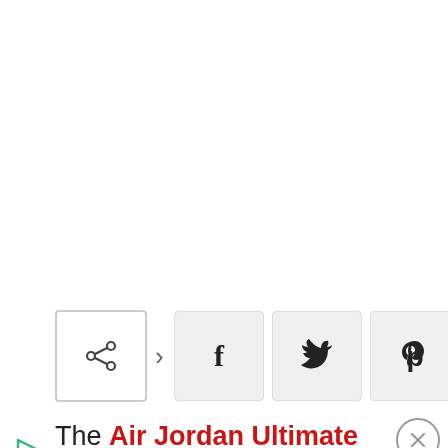[Figure (screenshot): Social sharing toolbar with share, Facebook, Twitter, Pinterest, and Reddit buttons]
The Air Jordan Ultimate Gift of Flight Pack official photos are finally here. The pack